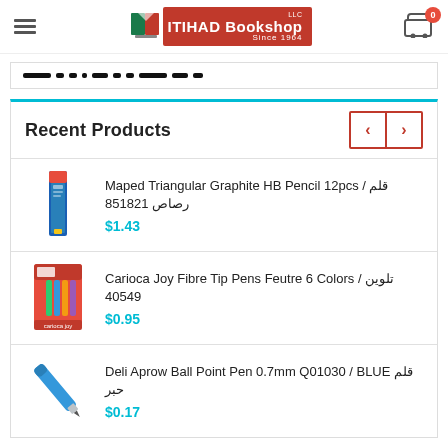ITIHAD Bookshop LLC Since 1964
[Figure (screenshot): Slider navigation dots strip showing active/inactive page indicators]
Recent Products
[Figure (photo): Maped Triangular Graphite HB Pencil 12pcs product image]
Maped Triangular Graphite HB Pencil 12pcs / قلم رصاص 851821
$1.43
[Figure (photo): Carioca Joy Fibre Tip Pens Feutre 6 Colors product image]
Carioca Joy Fibre Tip Pens Feutre 6 Colors / تلوين 40549
$0.95
[Figure (photo): Deli Aprow Ball Point Pen 0.7mm Q01030 product image - blue pen]
Deli Aprow Ball Point Pen 0.7mm Q01030 / BLUE قلم حبر
$0.17